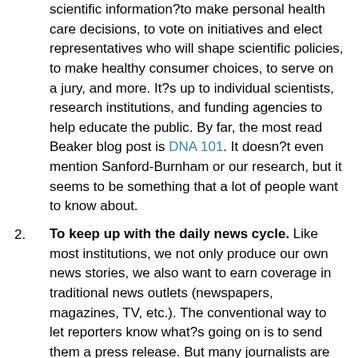These days everyone needs to understand complex scientific information?to make personal health care decisions, to vote on initiatives and elect representatives who will shape scientific policies, to make healthy consumer choices, to serve on a jury, and more. It?s up to individual scientists, research institutions, and funding agencies to help educate the public. By far, the most read Beaker blog post is DNA 101. It doesn?t even mention Sanford-Burnham or our research, but it seems to be something that a lot of people want to know about.
To keep up with the daily news cycle. Like most institutions, we not only produce our own news stories, we also want to earn coverage in traditional news outlets (newspapers, magazines, TV, etc.). The conventional way to let reporters know what?s going on is to send them a press release. But many journalists are growing weary of the dry, formulaic press release. I can?t say I blame them. We believe that blog posts are becoming the new press release. Blogs allow for more context, images, video, and interaction. Beaker is a place to report news, but also to tell engaging stories. We can even write in the first person!